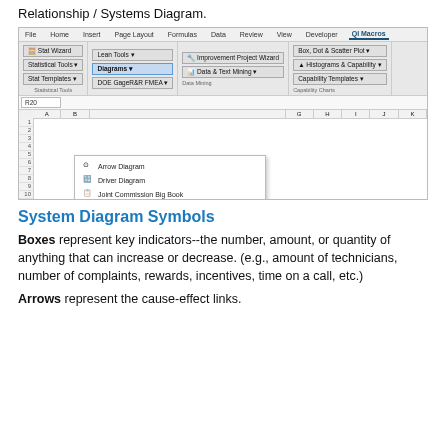Relationship / Systems Diagram.
[Figure (screenshot): Excel ribbon screenshot showing QI Macros Diagrams dropdown menu with options: Arrow Diagram, Driver Diagram, Joint Commission Big Book, MindMap, POPC Diagram, Relationship/Systems Diagram (highlighted), TOC Cloud and Reality Tree, CTQ Tree | Decision Tree | Driver Diagram, Turtle Diagram, Work Breakdown Structure]
System Diagram Symbols
Boxes represent key indicators--the number, amount, or quantity of anything that can increase or decrease. (e.g., amount of technicians, number of complaints, rewards, incentives, time on a call, etc.)
Arrows represent the cause-effect links.